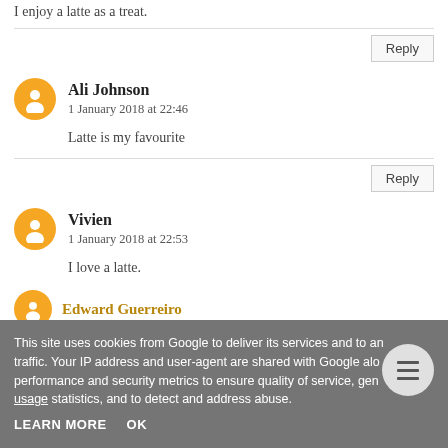I enjoy a latte as a treat.
Reply
Ali Johnson
1 January 2018 at 22:46
Latte is my favourite
Reply
Vivien
1 January 2018 at 22:53
I love a latte.
Edward Guerreiro
1 January 2018 at 23:16
This site uses cookies from Google to deliver its services and to analyse traffic. Your IP address and user-agent are shared with Google along with performance and security metrics to ensure quality of service, generate usage statistics, and to detect and address abuse.
LEARN MORE
OK